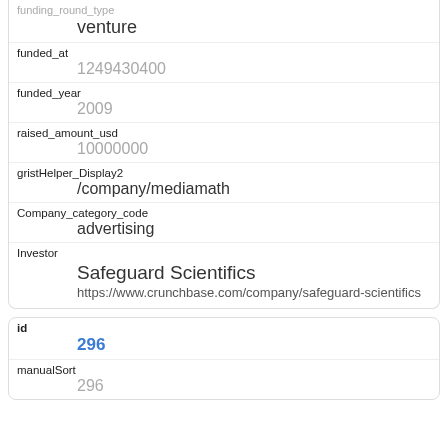funding_round_type
venture
funded_at
1249430400
funded_year
2009
raised_amount_usd
10000000
gristHelper_Display2
/company/mediamath
Company_category_code
advertising
Investor
Safeguard Scientifics
https://www.crunchbase.com/company/safeguard-scientifics
id
296
manualSort
296